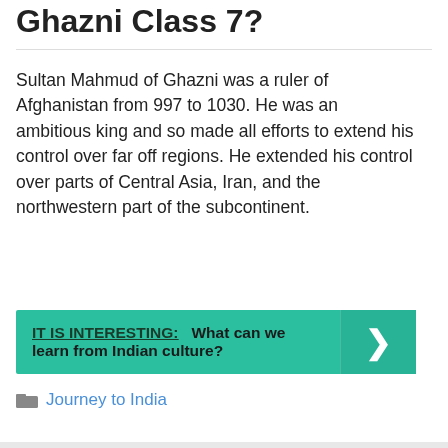Ghazni Class 7?
Sultan Mahmud of Ghazni was a ruler of Afghanistan from 997 to 1030. He was an ambitious king and so made all efforts to extend his control over far off regions. He extended his control over parts of Central Asia, Iran, and the northwestern part of the subcontinent.
[Figure (infographic): Teal banner with text 'IT IS INTERESTING: What can we learn from Indian culture?' and a right-arrow chevron on the right side.]
Journey to India